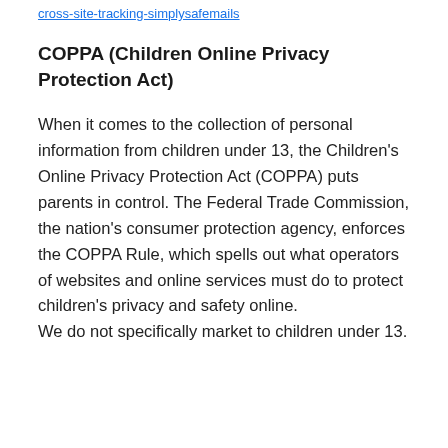cross-site-tracking-simplysafemails
COPPA (Children Online Privacy Protection Act)
When it comes to the collection of personal information from children under 13, the Children's Online Privacy Protection Act (COPPA) puts parents in control. The Federal Trade Commission, the nation's consumer protection agency, enforces the COPPA Rule, which spells out what operators of websites and online services must do to protect children's privacy and safety online. We do not specifically market to children under 13.